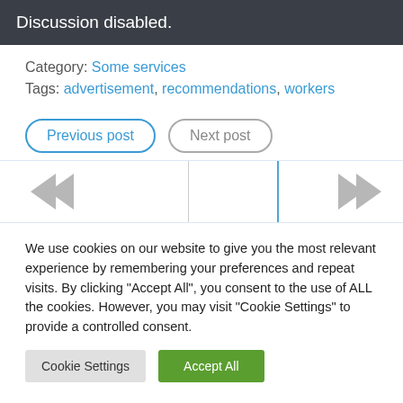Discussion disabled.
Category: Some services
Tags: advertisement, recommendations, workers
Previous post   Next post
[Figure (other): Navigation arrows area with left-pointing double chevrons and right-pointing double chevrons, separated by vertical lines]
We use cookies on our website to give you the most relevant experience by remembering your preferences and repeat visits. By clicking "Accept All", you consent to the use of ALL the cookies. However, you may visit "Cookie Settings" to provide a controlled consent.
Cookie Settings   Accept All